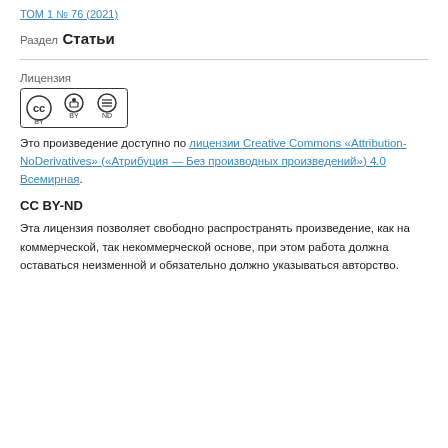ТОМ 1 № 76 (2021)
Раздел
Статьи
Лицензия
[Figure (logo): Creative Commons CC BY-ND license badge]
Это произведение доступно по лицензии Creative Commons «Attribution-NoDerivatives» («Атрибуция — Без производных произведений») 4.0 Всемирная.
CC BY-ND
Эта лицензия позволяет свободно распространять произведение, как на коммерческой, так некоммерческой основе, при этом работа должна оставаться неизменной и обязательно должно указываться авторство.